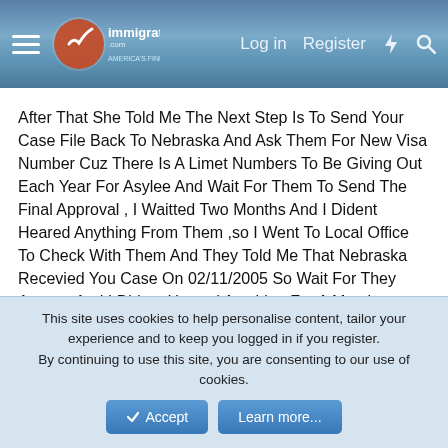immigration.com — Log in | Register
After That She Told Me The Next Step Is To Send Your Case File Back To Nebraska And Ask Them For New Visa Number Cuz There Is A Limet Numbers To Be Giving Out Each Year For Asylee And Wait For Them To Send The Final Approval , I Waitted Two Months And I Dident Heared Anything From Them ,so I Went To Local Office To Check With Them And They Told Me That Nebraska Recevied You Case On 02/11/2005 So Wait For They Answer And I Dident Heared Anything For A Month .
So I Called Cis 1-800 Phone Number To Ask Them For My Case And They Told We Going To Send A Letter To Nebraska To Find Out What Happend To Your Case And After Two Weeks I Recevied A Letter From Them Saying That Recevied My Form I-
This site uses cookies to help personalise content, tailor your experience and to keep you logged in if you register.
By continuing to use this site, you are consenting to our use of cookies.